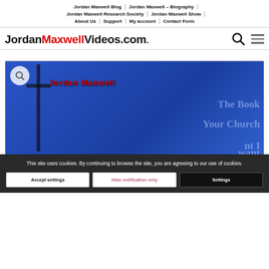Jordan Maxwell Blog | Jordan Maxwell – Biography | Jordan Maxwell Research Society | Jordan Maxwell Show | About Us | Support | My account | Contact Form
[Figure (logo): JordanMaxwellVideos.com logo with search icon and hamburger menu icon]
[Figure (screenshot): Video thumbnail showing Jordan Maxwell with a cross silhouette on blue background, text 'Jordan Maxwell', 'The Book', 'Your Church', partially visible]
This site uses cookies. By continuing to browse the site, you are agreeing to our use of cookies.
Accept settings | Hide notification only | Settings